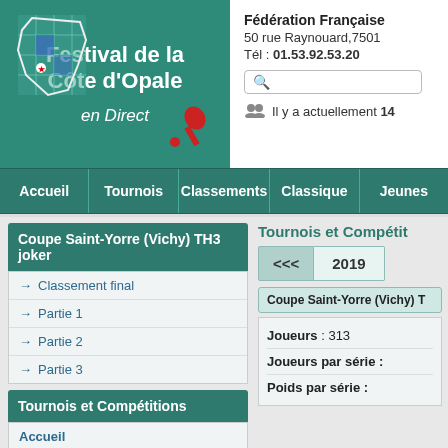[Figure (logo): Festival de la Côte d'Opale en Direct logo with map of France and microphone]
Fédération Française
50 rue Raynouard,7501
Tél : 01.53.92.53.20
Il y a actuellement 14
Accueil | Tournois | Classements | Classique | Jeunes
Coupe Saint-Yorre (Vichy) TH3 joker
Classement final
Partie 1
Partie 2
Partie 3
Tournois et Compétitions
Accueil
Recherche dans le Calendrier
Tournois et Compétit
<<< 2019
Coupe Saint-Yorre (Vichy) T
Joueurs : 313
Joueurs par série :
Poids par série :